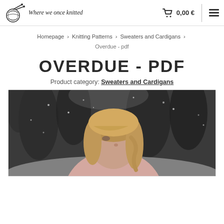Where we once knitted — 0,00 €
Homepage > Knitting Patterns > Sweaters and Cardigans > Overdue - pdf
OVERDUE - PDF
Product category: Sweaters and Cardigans
[Figure (photo): Woman with blonde wavy hair looking to the side, wearing a light pink knitted sweater, photographed outdoors in a snowy winter setting with blurred dark trees in the background.]